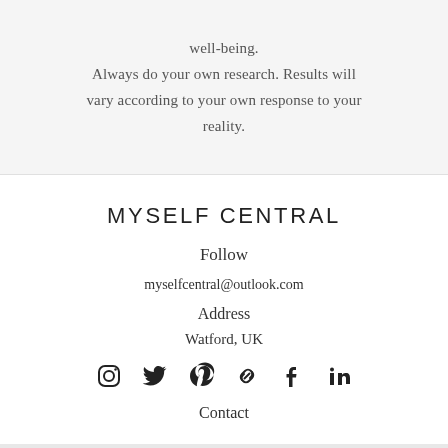well-being. Always do your own research. Results will vary according to your own response to your reality.
MYSELF CENTRAL
Follow
myselfcentral@outlook.com
Address
Watford, UK
[Figure (infographic): Row of social media icons: Instagram, Twitter, Pinterest, Link/chain, Facebook, LinkedIn]
Contact